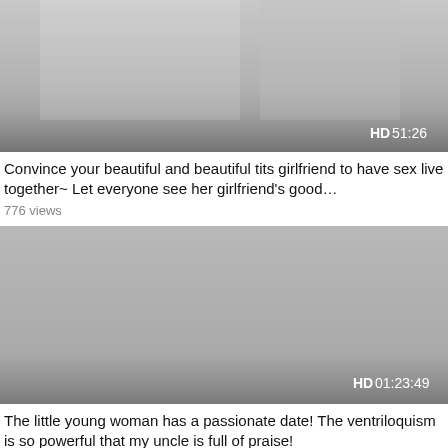[Figure (screenshot): Video thumbnail showing a grayscale/blurred image with HD badge and duration 51:26 in bottom right corner]
Convince your beautiful and beautiful tits girlfriend to have sex live together~ Let everyone see her girlfriend's good…
776 views
[Figure (screenshot): Video thumbnail showing a solid gray image with HD badge and duration 01:23:49 in bottom right corner]
The little young woman has a passionate date! The ventriloquism is so powerful that my uncle is full of praise!
381 views